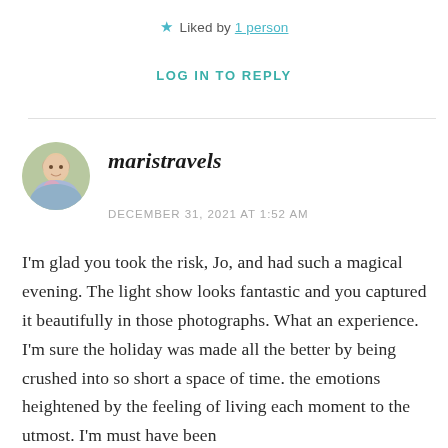★ Liked by 1 person
LOG IN TO REPLY
maristravels
DECEMBER 31, 2021 AT 1:52 AM
I'm glad you took the risk, Jo, and had such a magical evening. The light show looks fantastic and you captured it beautifully in those photographs. What an experience. I'm sure the holiday was made all the better by being crushed into so short a space of time. the emotions heightened by the feeling of living each moment to the utmost. I'm must have been